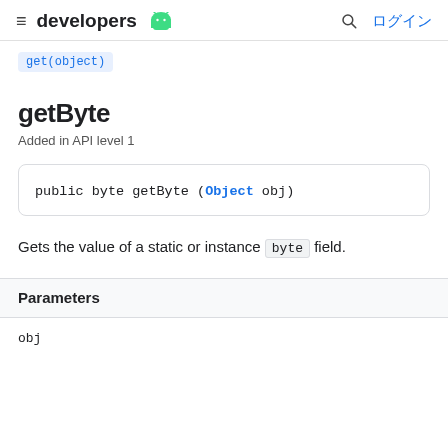developers [android logo] ログイン
get(object)
getByte
Added in API level 1
public byte getByte (Object obj)
Gets the value of a static or instance byte field.
Parameters
obj